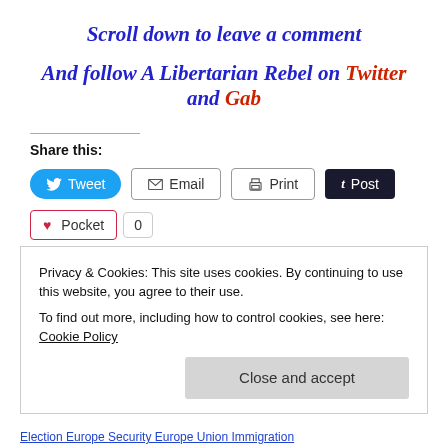Scroll down to leave a comment
And follow A Libertarian Rebel on Twitter and Gab
Share this:
[Tweet] [Email] [Print] [Post]
[Pocket] 0
Privacy & Cookies: This site uses cookies. By continuing to use this website, you agree to their use.
To find out more, including how to control cookies, see here: Cookie Policy
[Close and accept]
Election  Europe  Security  Europe  Union  Immigration